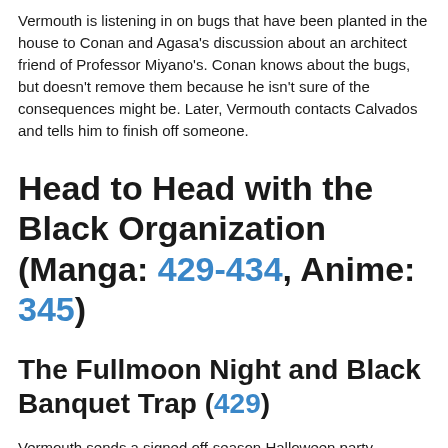Vermouth is listening in on bugs that have been planted in the house to Conan and Agasa's discussion about an architect friend of Professor Miyano's. Conan knows about the bugs, but doesn't remove them because he isn't sure of the consequences might be. Later, Vermouth contacts Calvados and tells him to finish off someone.
Head to Head with the Black Organization (Manga: 429-434, Anime: 345)
The Fullmoon Night and Black Banquet Trap (429)
Vermouth sends a signed off-season Halloween party invitation to Kogoro Mouri and to Conan addressed for Shinichi Kudo challenging them to solve a murder on the ship. Conan asks Haibara who is still sick about the name Vermouth, and learns from her reaction that it is the